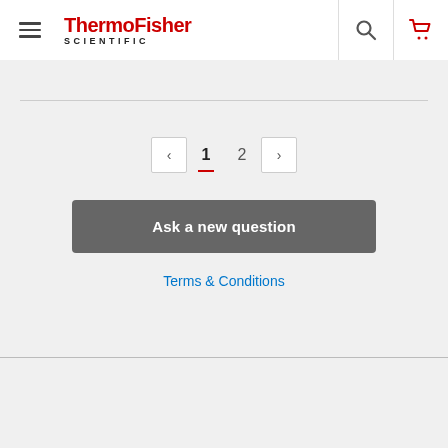[Figure (logo): ThermoFisher Scientific logo with hamburger menu, search icon, and cart icon in the header navigation bar]
1 Answer
1  2
Ask a new question
Terms & Conditions